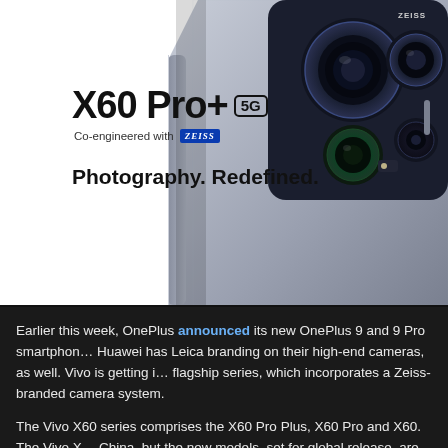[Figure (photo): Product hero image showing the Vivo X60 Pro+ 5G smartphone back panel with Zeiss camera system, dark metallic texture, multiple camera lenses visible in top-right corner. White background. Text overlay: 'X60 Pro+ 5G Co-engineered with ZEISS' and 'Photography. Redefined.']
Earlier this week, OnePlus announced its new OnePlus 9 and 9 Pro smartphon... Huawei has Leica branding on their high-end cameras, as well. Vivo is getting i... flagship series, which incorporates a Zeiss-branded camera system.
The Vivo X60 series comprises the X60 Pro Plus, X60 Pro and X60. The Vivo X... China, but the new models, set for global release, are considerably different. O... new partnership Vivo has formed with Zeiss. The new X60 series models inclu...